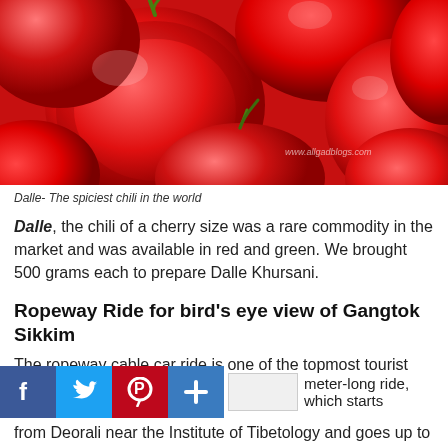[Figure (photo): Close-up photo of Dalle chili peppers – small, round, bright red chilis with stems, clustered together. Watermark reads www.allgadblogs.com]
Dalle- The spiciest chili in the world
Dalle, the chili of a cherry size was a rare commodity in the market and was available in red and green. We brought 500 grams each to prepare Dalle Khursani.
Ropeway Ride for bird's eye view of Gangtok Sikkim
The ropeway cable car ride is one of the topmost tourist attractions of Gangtok. It is a 1 kilometer-long ride, which starts from Deorali near the Institute of Tibetology and goes up to